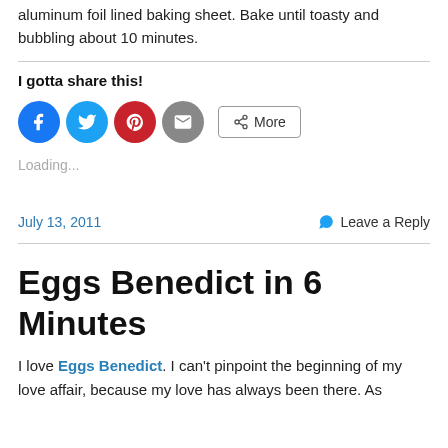aluminum foil lined baking sheet. Bake until toasty and bubbling about 10 minutes.
I gotta share this!
[Figure (infographic): Social share buttons: Facebook (blue circle), Twitter (light blue circle), Pinterest (red circle), Email (gray circle), and a More button]
Loading...
July 13, 2011   Leave a Reply
Eggs Benedict in 6 Minutes
I love Eggs Benedict. I can't pinpoint the beginning of my love affair, because my love has always been there. As